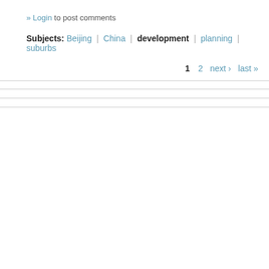» Login to post comments
Subjects: Beijing | China | development | planning | suburbs
1  2  next ›  last »